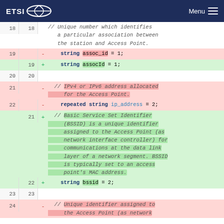ETSI  Menu
Code diff view showing protobuf/IDL changes. Lines 18-24. Old lines use pink background (deletions), new lines use green background (additions). Line 18: comment '// Unique number which identifies a particular association between the station and Access Point.' Line 19 del: string assoc_id = 1; Line 19 add: string assocId = 1; Line 20: empty. Line 21 del: // IPv4 or IPv6 address allocated for the Access Point. Line 22 del: repeated string ip_address = 2; Line 21 add: // Basic Service Set Identifier (BSSID) is a unique identifier assigned to the Access Point (as network interface controller) for communications at the data link layer of a network segment. BSSID is typically set to an access point's MAC address. Line 22 add: string bssid = 2; Line 23: empty. Line 24 del: // Unique identifier assigned to the Access Point (as network...